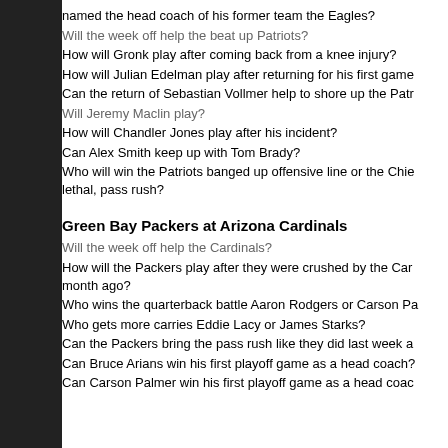named the head coach of his former team the Eagles?
Will the week off help the beat up Patriots?
How will Gronk play after coming back from a knee injury?
How will Julian Edelman play after returning for his first game
Can the return of Sebastian Vollmer help to shore up the Patr
Will Jeremy Maclin play?
How will Chandler Jones play after his incident?
Can Alex Smith keep up with Tom Brady?
Who will win the Patriots banged up offensive line or the Chie lethal, pass rush?
Green Bay Packers at Arizona Cardinals
Will the week off help the Cardinals?
How will the Packers play after they were crushed by the Car month ago?
Who wins the quarterback battle Aaron Rodgers or Carson Pa
Who gets more carries Eddie Lacy or James Starks?
Can the Packers bring the pass rush like they did last week a
Can Bruce Arians win his first playoff game as a head coach?
Can Carson Palmer win his first playoff game as a head coac